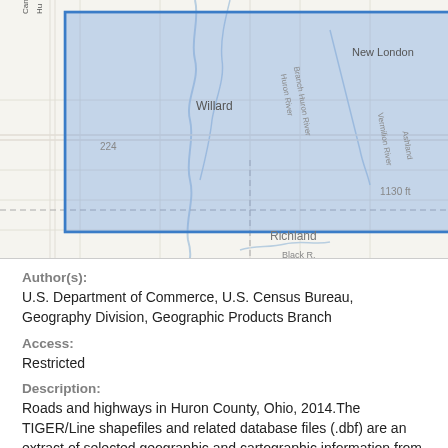[Figure (map): A geographic map showing Huron County, Ohio area with a blue-bordered rectangular selection area highlighting roads and highways. Map labels include Willard, New London, Richland, 224, 1130 ft, 250, Vermilion River, Ashland, Huron River, Branch Huron River, Black R.]
Author(s):
U.S. Department of Commerce, U.S. Census Bureau, Geography Division, Geographic Products Branch
Access:
Restricted
Description:
Roads and highways in Huron County, Ohio, 2014.The TIGER/Line shapefiles and related database files (.dbf) are an extract of selected geographic and cartographic information from the U.S. Census Bureau's Master Address File / Topologically Integrated